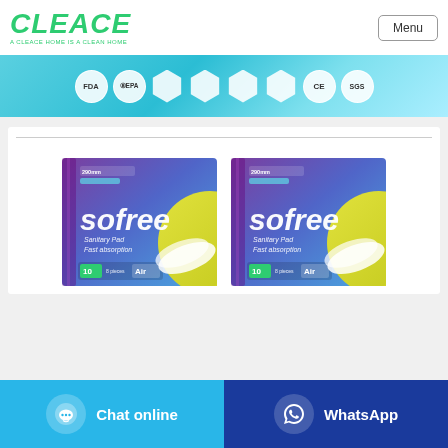[Figure (logo): CLEACE logo in green italic text with tagline 'A CLEACE HOME IS A CLEAN HOME']
[Figure (other): Menu button top right]
[Figure (other): Certification banner with FDA, EPA, and other certification badges on teal background]
[Figure (other): Two Sofree sanitary pad product boxes side by side, purple/blue gradient packaging with 'sofree Sanitary Pad Fast absorption 10 pieces Air' text]
Chat online
WhatsApp